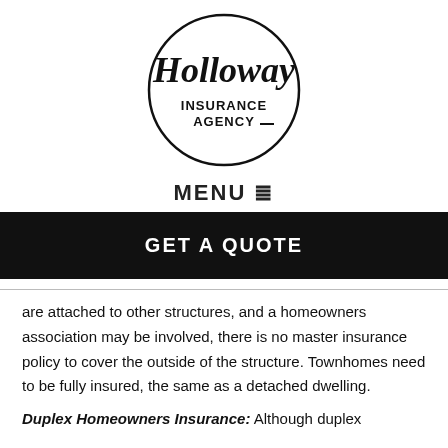[Figure (logo): Holloway Insurance Agency circular logo with script lettering]
MENU ≡
GET A QUOTE
are attached to other structures, and a homeowners association may be involved, there is no master insurance policy to cover the outside of the structure. Townhomes need to be fully insured, the same as a detached dwelling.
Duplex Homeowners Insurance: Although duplex